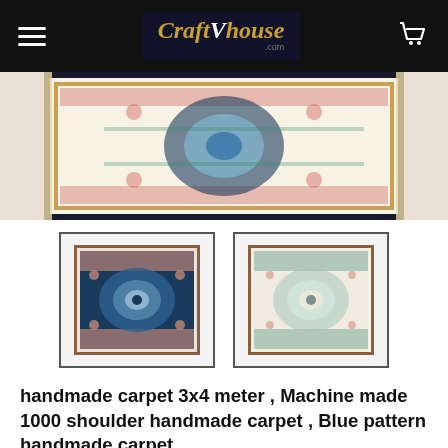CraftVhouse.com
[Figure (photo): Top portion of a decorative handmade carpet with floral and medallion pattern, cream and blue colors with fringe border]
[Figure (photo): Thumbnail of blue/teal handmade carpet with circular medallion pattern]
[Figure (photo): Thumbnail of cream/beige handmade carpet with circular medallion pattern]
handmade carpet 3x4 meter , Machine made 1000 shoulder handmade carpet , Blue pattern handmade carpet
Write a Review
SKU:   PCKK3x4-1000-001